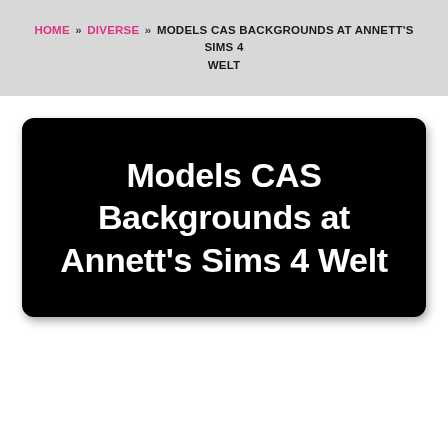HOME » DIVERSE » MODELS CAS BACKGROUNDS AT ANNETT'S SIMS 4 WELT
Models CAS Backgrounds at Annett's Sims 4 Welt